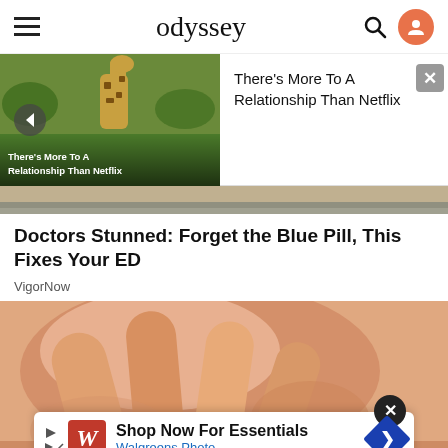odyssey
[Figure (screenshot): Video thumbnail notification showing a giraffe image with text 'There's More To A Relationship Than Netflix', with a back button and close button]
There's More To A Relationship Than Netflix
[Figure (photo): Close-up photo of hands on skin, advertisement image for VigorNow]
Doctors Stunned: Forget the Blue Pill, This Fixes Your ED
VigorNow
[Figure (screenshot): Walgreens Photo advertisement banner: Shop Now For Essentials, Walgreens Photo]